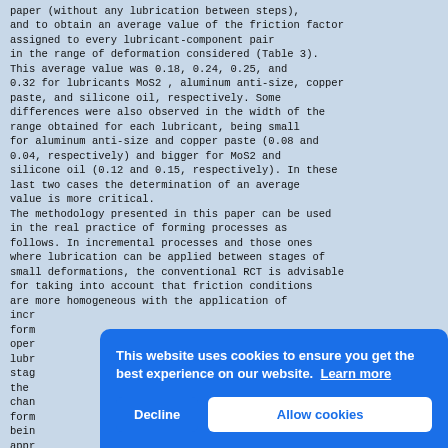paper (without any lubrication between steps), and to obtain an average value of the friction factor assigned to every lubricant-component pair in the range of deformation considered (Table 3). This average value was 0.18, 0.24, 0.25, and 0.32 for lubricants MoS2 , aluminum anti-size, copper paste, and silicone oil, respectively. Some differences were also observed in the width of the range obtained for each lubricant, being small for aluminum anti-size and copper paste (0.08 and 0.04, respectively) and bigger for MoS2 and silicone oil (0.12 and 0.15, respectively). In these last two cases the determination of an average value is more critical.
The methodology presented in this paper can be used in the real practice of forming processes as follows. In incremental processes and those ones where lubrication can be applied between stages of small deformations, the conventional RCT is advisable for taking into account that friction conditions are more homogeneous with the application of incremental forming operations. For forming operations where lubrication between stages is not possible, the use of a forming process with changing friction conditions is more suitable, being the modified RCT a better approach to give an average friction value is more critical.
estimated instead of applying the initial friction
[Figure (screenshot): Cookie consent banner overlay with blue background. Text reads: 'This website uses cookies to ensure you get the best experience on our website. Learn more' with a 'Decline' button and an 'Allow cookies' button.]